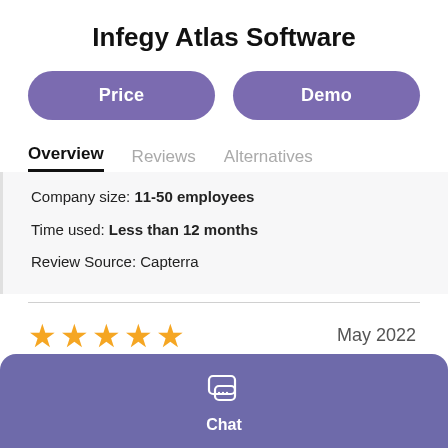Infegy Atlas Software
Price
Demo
Overview
Reviews
Alternatives
Company size: 11-50 employees
Time used: Less than 12 months
Review Source: Capterra
[Figure (other): Five orange star rating icons]
May 2022
Chat